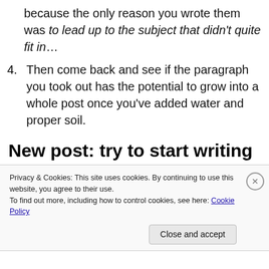because the only reason you wrote them was to lead up to the subject that didn't quite fit in…
4. Then come back and see if the paragraph you took out has the potential to grow into a whole post once you've added water and proper soil.
New post: try to start writing by not writing
[partial obscured text]
Privacy & Cookies: This site uses cookies. By continuing to use this website, you agree to their use. To find out more, including how to control cookies, see here: Cookie Policy